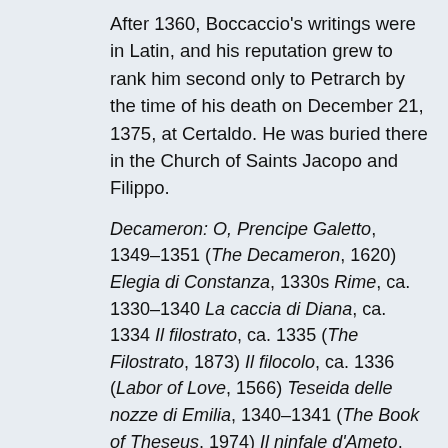After 1360, Boccaccio's writings were in Latin, and his reputation grew to rank him second only to Petrarch by the time of his death on December 21, 1375, at Certaldo. He was buried there in the Church of Saints Jacopo and Filippo.
Decameron: O, Prencipe Galetto, 1349–1351 (The Decameron, 1620) Elegia di Constanza, 1330s Rime, ca. 1330–1340 La caccia di Diana, ca. 1334 Il filostrato, ca. 1335 (The Filostrato, 1873) Il filocolo, ca. 1336 (Labor of Love, 1566) Teseida delle nozze di Emilia, 1340–1341 (The Book of Theseus, 1974) Il ninfale d'Ameto, 1341–1342 (also known as Comedia delle ninfe fiorentine and Comedia Ninfe) L'amorosa visione, 1342–1343 (English translation, 1986) Elegia di Madonna Fiammetta,